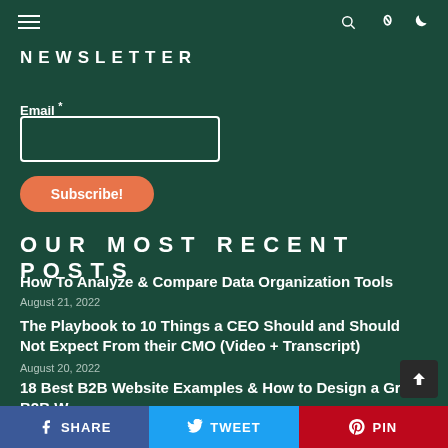NEWSLETTER
Email *
Subscribe!
OUR MOST RECENT POSTS
How To Analyze & Compare Data Organization Tools
August 21, 2022
The Playbook to 10 Things a CEO Should and Should Not Expect From their CMO (Video + Transcript)
August 20, 2022
18 Best B2B Website Examples & How to Design a Great B2B Website
SHARE  TWEET  PIN